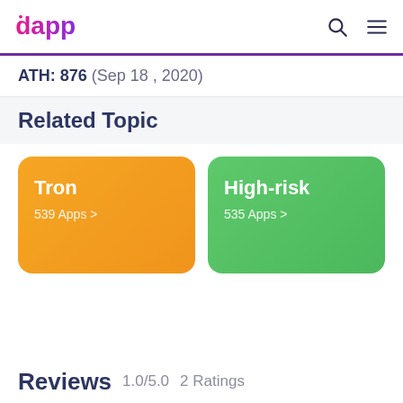dapp (logo) — search and menu icons
ATH: 876 (Sep 18, 2020)
Related Topic
[Figure (infographic): Two topic cards side by side: 'Tron 539 Apps >' on an orange gradient background, and 'High-risk 535 Apps >' on a green gradient background]
Reviews  1.0/5.0  2 Ratings